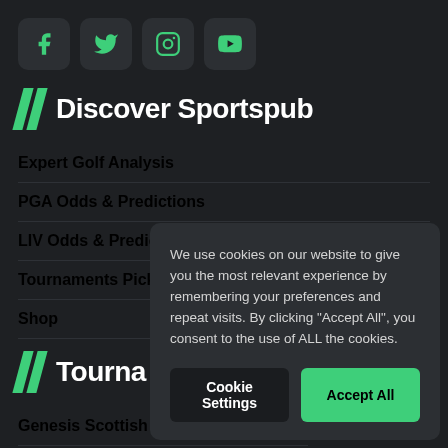[Figure (other): Social media icons row: Facebook, Twitter, Instagram, YouTube — dark rounded square buttons with green icons]
// Discover Sportspub
Expert Golf Analysis
PGA Odds & Predictions
LIV Odds & Predictions
Tournaments Picks
Shop
// Tourna
Genesis Scottish O
John Deere Classi
Travelers Championships 2022
We use cookies on our website to give you the most relevant experience by remembering your preferences and repeat visits. By clicking “Accept All”, you consent to the use of ALL the cookies.
Cookie Settings | Accept All